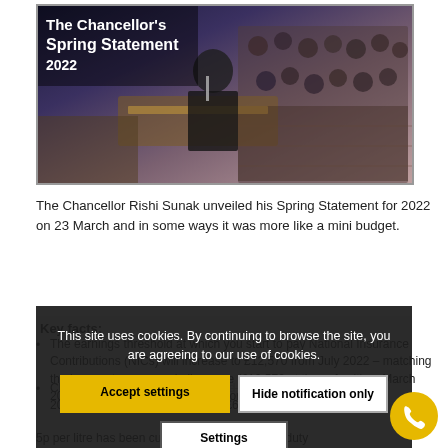[Figure (photo): Photo of UK Parliament chamber with text overlay 'The Chancellor's Spring Statement 2022']
The Chancellor Rishi Sunak unveiled his Spring Statement for 2022 on 23 March and in some ways it was more like a mini budget.
Key facts:
The earnings threshold at which you start to pay National Insurance Contributions (NICs) will increase to £12,570 from July 2022 – matching the income tax personal allowance (£12,570 at time of writing, March 2022), so will leave people with more money in their pockets.
Class 2 NICs for the self-employed will also reduce, from 2022, to zero for profits between £6,515 and £9,568
5p per litre has been cut immediately from fuel duty...
This site uses cookies. By continuing to browse the site, you are agreeing to our use of cookies.